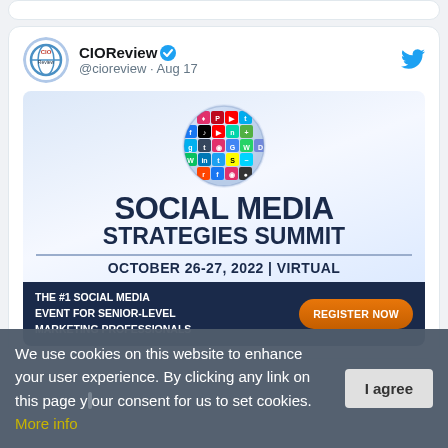[Figure (screenshot): Top partial tweet card showing edge of previous card]
[Figure (screenshot): CIOReview Twitter/X tweet card showing avatar, verified account name @cioreview, Aug 17 date, and Social Media Strategies Summit advertisement image]
CIOReview @cioreview · Aug 17
[Figure (infographic): Social Media Strategies Summit advertisement: globe made of social media app icons, title SOCIAL MEDIA STRATEGIES SUMMIT, date OCTOBER 26-27, 2022 | VIRTUAL, dark blue banner with THE #1 SOCIAL MEDIA EVENT FOR SENIOR-LEVEL MARKETING PROFESSIONALS and REGISTER NOW button]
We use cookies on this website to enhance your user experience. By clicking any link on this page you give your consent for us to set cookies. More info
I agree